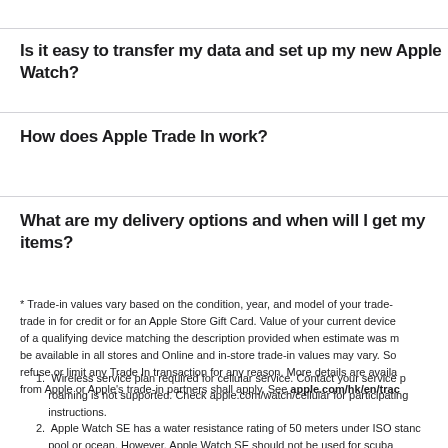Is it easy to transfer my data and set up my new Apple Watch?
How does Apple Trade In work?
What are my delivery options and when will I get my items?
* Trade-in values vary based on the condition, year, and model of your trade- trade in for credit or for an Apple Store Gift Card. Value of your current device of a qualifying device matching the description provided when estimate was m be available in all stores and Online and in-store trade-in values may vary. So refuse or limit any Trade In transaction for any reason. More details are availa from Apple or Apple's trade-in partners shall apply. See apple.com/hk/en/trac
Wireless service plan required for cellular service. Contact your service p roaming is not supported. Check apple.com/watch/cellular for participating instructions.
Apple Watch SE has a water resistance rating of 50 meters under ISO stanc pool or ocean. However, Apple Watch SE should not be used for scuba